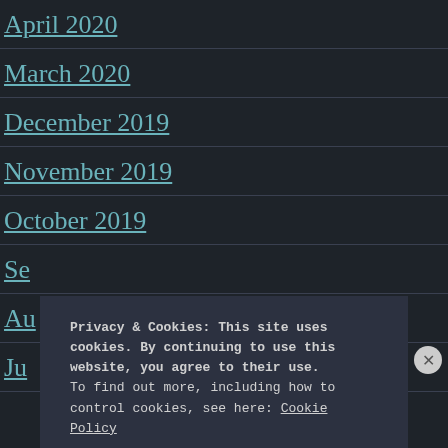April 2020
March 2020
December 2019
November 2019
October 2019
Se[ptember 2019] (partially visible)
Au[gust 2019] (partially visible)
Ju[ly 2019] (partially visible)
Privacy & Cookies: This site uses cookies. By continuing to use this website, you agree to their use.
To find out more, including how to control cookies, see here: Cookie Policy
Close and accept